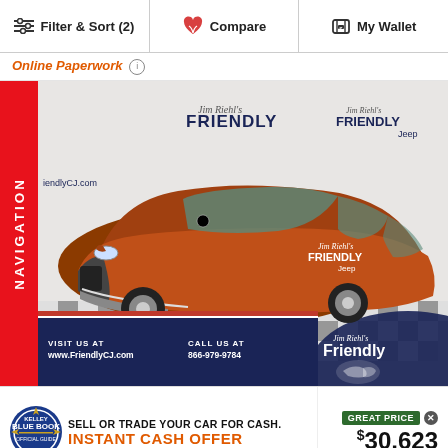Filter & Sort (2)  |  Compare  |  My Wallet
Online Paperwork ℹ
[Figure (photo): Orange/copper Chrysler Pacifica minivan parked in a dealership showroom with checkered floor. Red 'NAVIGATION' sidebar on left. Jim Riehl's Friendly Chrysler Jeep dealership branding visible in background and bottom banner with website www.FriendlyCJ.com and phone 866-979-9784.]
SELL OR TRADE YOUR CAR FOR CASH. INSTANT CASH OFFER
GREAT PRICE
$30,623